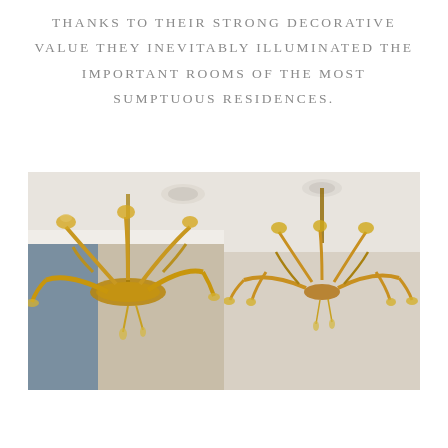THANKS TO THEIR STRONG DECORATIVE VALUE THEY INEVITABLY ILLUMINATED THE IMPORTANT ROOMS OF THE MOST SUMPTUOUS RESIDENCES.
[Figure (photo): Two side-by-side photographs of ornate gold Murano glass chandeliers with floral motifs, photographed from below against white ceilings.]